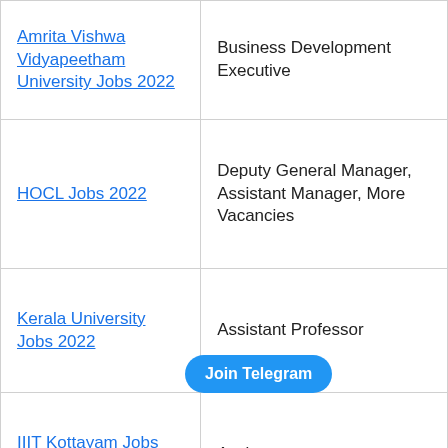| Organization | Position |
| --- | --- |
| Amrita Vishwa Vidyapeetham University Jobs 2022 | Business Development Executive |
| HOCL Jobs 2022 | Deputy General Manager, Assistant Manager, More Vacancies |
| Kerala University Jobs 2022 | Assistant Professor |
| IIIT Kottayam Jobs 2022 | Assistant |
|  |  |